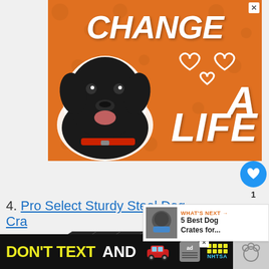[Figure (illustration): Orange advertisement banner showing a black Labrador dog with white outline cutout, text reading CHANGE A LIFE with heart icons, orange background with paw print pattern]
[Figure (infographic): Blue circular like/heart button showing count of 1, and a share button below it on the right sidebar]
4. Pro Select Sturdy Steel Dog Crate
[Figure (illustration): What's Next widget showing a dog wearing a face mask, with text: WHAT'S NEXT → 5 Best Dog Crates for...]
[Figure (photo): Partial view of a steel wire dog crate seen from above at an angle, dark colored wire mesh construction]
[Figure (illustration): Black NHTSA advertisement banner at bottom with text DON'T TEXT AND showing a red car emoji, ad badge, and NHTSA logo in yellow/cyan colors]